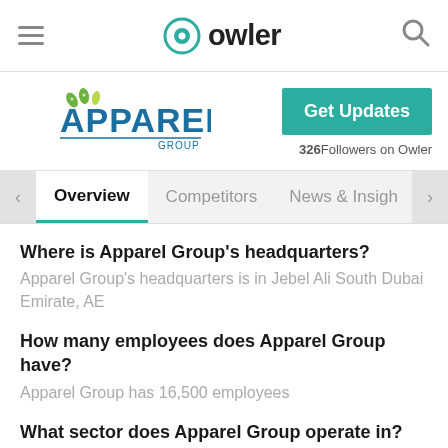owler
[Figure (logo): Apparel Group logo with teal and green leaf design]
Get Updates
326Followers on Owler
Overview | Competitors | News & Insights
Where is Apparel Group's headquarters?
Apparel Group's headquarters is in Jebel Ali South Dubai Emirate, AE
How many employees does Apparel Group have?
Apparel Group has 16,500 employees
What sector does Apparel Group operate in?
Apparel Group is in Fashion, Apparel & Accessories